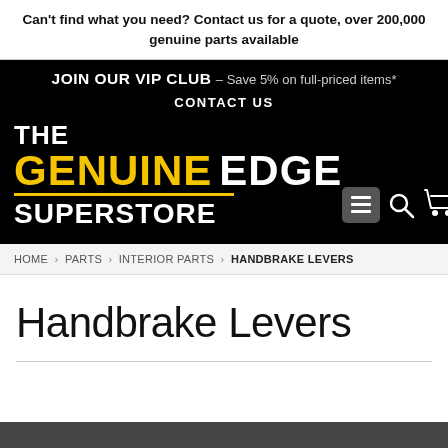Can't find what you need? Contact us for a quote, over 200,000 genuine parts available
[Figure (logo): The Genuine Edge Superstore logo with JOIN OUR VIP CLUB and CONTACT US text on black background with navigation icons]
HOME › PARTS › INTERIOR PARTS › HANDBRAKE LEVERS
Handbrake Levers